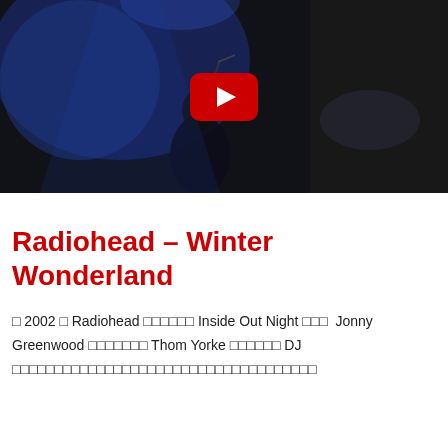[Figure (screenshot): YouTube video thumbnail showing a concert/stage scene with blue lighting and a performer at a microphone. A red YouTube play button is overlaid in the center.]
Radiohead – Winter Wonderland
□ 2002 □ Radiohead □□□□□□ Inside Out Night □□□  Jonny Greenwood □□□□□□□ Thom Yorke □□□□□□ DJ □□□□□□□□□□□□□□□□□□□□□□□□□□□□□□□□□□□□